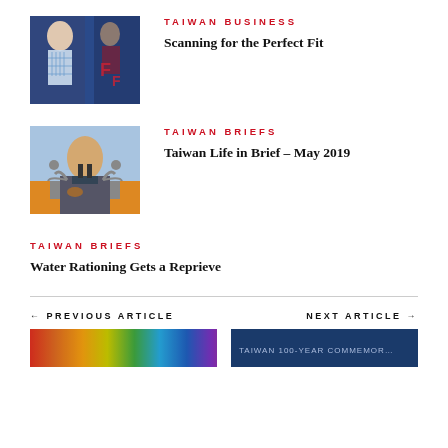[Figure (photo): Body scan / fashion tech image with blue tones]
TAIWAN BUSINESS
Scanning for the Perfect Fit
[Figure (photo): Man at podium with raised fist, speaker at event]
TAIWAN BRIEFS
Taiwan Life in Brief – May 2019
TAIWAN BRIEFS
Water Rationing Gets a Reprieve
← PREVIOUS ARTICLE
NEXT ARTICLE →
[Figure (photo): Colorful SDG/sustainability icons strip]
[Figure (photo): Dark blue banner with text]